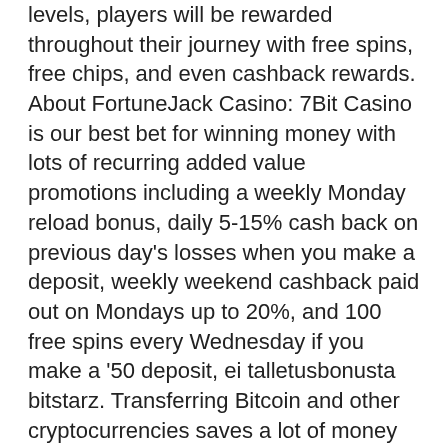levels, players will be rewarded throughout their journey with free spins, free chips, and even cashback rewards. About FortuneJack Casino: 7Bit Casino is our best bet for winning money with lots of recurring added value promotions including a weekly Monday reload bonus, daily 5-15% cash back on previous day's losses when you make a deposit, weekly weekend cashback paid out on Mondays up to 20%, and 100 free spins every Wednesday if you make a '50 deposit, ei talletusbonusta bitstarz. Transferring Bitcoin and other cryptocurrencies saves a lot of money and time when compared to other options like SWIFT, ACH, and other methods, битстарз форум. — most slot machines will be pre-set with the ability to adjust from 85-95% payout. If a casino would like to encourage. 20% are 30-39 yr, 8% are 40-49 yr, then barely 3% are 50-59 yr and 2% are over 60 yr. Total bitstarz bonus is 2000 180 free spins. Заголовками bitstarz